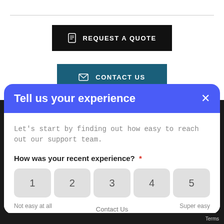[Figure (screenshot): Black 'REQUEST A QUOTE' button with document icon]
[Figure (screenshot): Dark teal 'CONTACT US' button with envelope icon]
Tell us your experience
Let's start by finding out how easy to reach out our support team.
How was your recent experience? *
1
2
3
4
5
Not easy at all
Super easy
Terms